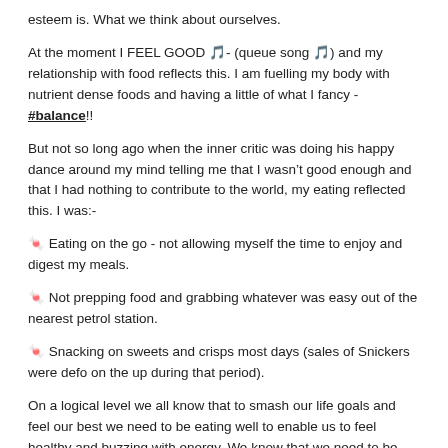esteem is. What we think about ourselves.
At the moment I FEEL GOOD 🎵- (queue song 🎵) and my relationship with food reflects this. I am fuelling my body with nutrient dense foods and having a little of what I fancy - #balance!!
But not so long ago when the inner critic was doing his happy dance around my mind telling me that I wasn't good enough and that I had nothing to contribute to the world, my eating reflected this. I was:-
🍬 Eating on the go - not allowing myself the time to enjoy and digest my meals.
🍬 Not prepping food and grabbing whatever was easy out of the nearest petrol station.
🍬 Snacking on sweets and crisps most days (sales of Snickers were defo on the up during that period).
On a logical level we all know that to smash our life goals and feel our best we need to be eating well to enable us to feel healthy and buzzing with energy. We know that we need to be fuelling our bodies to tackle the extra work that we need to put in to improve our lives.